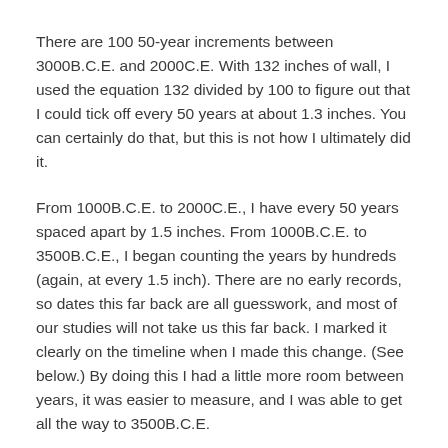There are 100 50-year increments between 3000B.C.E. and 2000C.E. With 132 inches of wall, I used the equation 132 divided by 100 to figure out that I could tick off every 50 years at about 1.3 inches. You can certainly do that, but this is not how I ultimately did it.
From 1000B.C.E. to 2000C.E., I have every 50 years spaced apart by 1.5 inches. From 1000B.C.E. to 3500B.C.E., I began counting the years by hundreds (again, at every 1.5 inch). There are no early records, so dates this far back are all guesswork, and most of our studies will not take us this far back. I marked it clearly on the timeline when I made this change. (See below.) By doing this I had a little more room between years, it was easier to measure, and I was able to get all the way to 3500B.C.E.